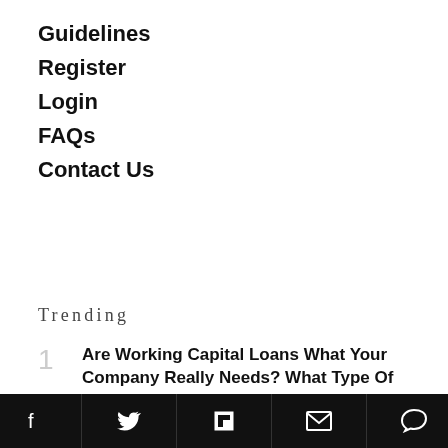Guidelines
Register
Login
FAQs
Contact Us
Trending
1 Are Working Capital Loans What Your Company Really Needs? What Type Of Finance Company Can Help?
2 5 Ways Missing Calls Can Negatively Impact Your